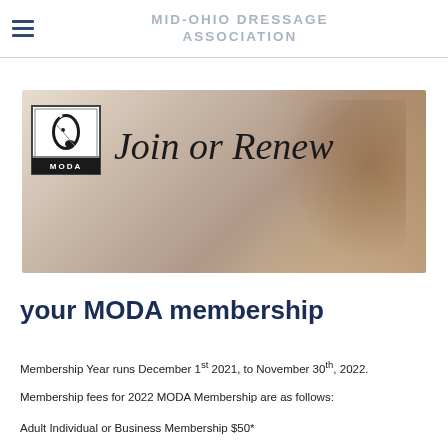MID-OHIO DRESSAGE ASSOCIATION
[Figure (illustration): Banner image showing MODA logo on left with a horse in background and cursive text 'Join or Renew']
your MODA membership
Membership Year runs December 1st 2021, to November 30th, 2022.
Membership fees for 2022 MODA Membership are as follows:
Adult Individual or Business Membership $50*